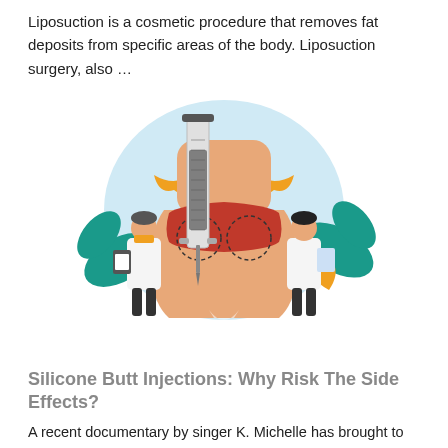Liposuction is a cosmetic procedure that removes fat deposits from specific areas of the body. Liposuction surgery, also …
[Figure (illustration): Medical illustration showing two doctors in white coats examining a large stylized torso wearing red underwear with dashed circles marking areas for liposuction, alongside a large syringe/needle. Decorative teal leaves and orange ribbon elements in background.]
Silicone Butt Injections: Why Risk The Side Effects?
A recent documentary by singer K. Michelle has brought to